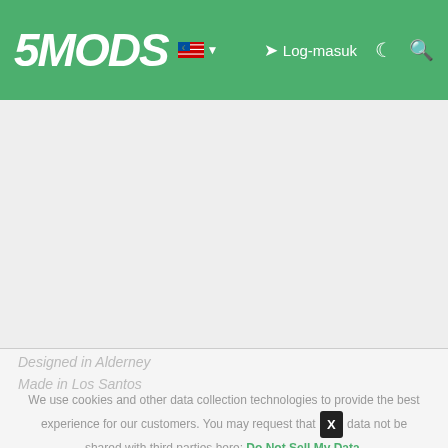5MODS | Log-masuk
[Figure (screenshot): Empty gray content area below the navigation bar]
Designed in Alderney
Made in Los Santos
We use cookies and other data collection technologies to provide the best experience for our customers. You may request that [X] data not be shared with third parties here: Do Not Sell My Data.